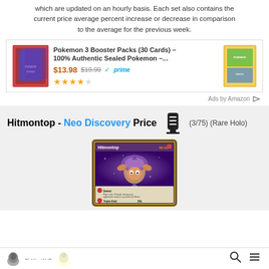which are updated on an hourly basis. Each set also contains the current price average percent increase or decrease in comparison to the average for the previous week.
[Figure (screenshot): Amazon advertisement for Pokemon 3 Booster Packs (30 Cards) – 100% Authentic Sealed Pokemon –... priced at $13.98 (was $19.99) with Prime badge and 4-star rating. Shows Pokemon card pack images on left and right.]
Ads by Amazon
Hitmontop - Neo Discovery Price (3/75) (Rare Holo)
[Figure (photo): Hitmontop Pokemon card from Neo Discovery set – Rare Holo (3/75), 60 HP. Shows the card with holographic background and two attacks: Detect and Triple Kick 30x.]